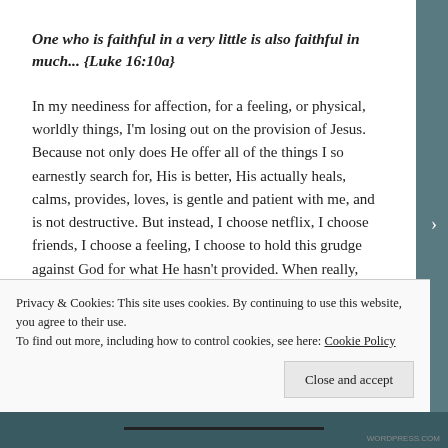One who is faithful in a very little is also faithful in much... {Luke 16:10a}
In my neediness for affection, for a feeling, or physical, worldly things, I'm losing out on the provision of Jesus. Because not only does He offer all of the things I so earnestly search for, His is better, His actually heals, calms, provides, loves, is gentle and patient with me, and is not destructive. But instead, I choose netflix, I choose friends, I choose a feeling, I choose to hold this grudge against God for what He hasn't provided. When really, He's already done so. He provided everything we could ever need when He sent us
Privacy & Cookies: This site uses cookies. By continuing to use this website, you agree to their use.
To find out more, including how to control cookies, see here: Cookie Policy
Close and accept